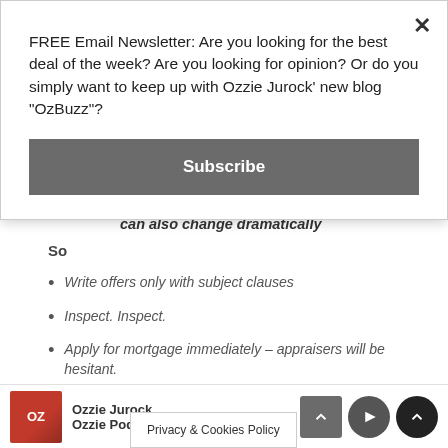FREE Email Newsletter: Are you looking for the best deal of the week? Are you looking for opinion? Or do you simply want to keep up with Ozzie Jurock' new blog "OzBuzz"?
Subscribe
can also change dramatically
So
Write offers only with subject clauses
Inspect. Inspect.
Apply for mortgage immediately – appraisers will be hesitant.
Ozzie Jurock Ozzie Podcast Privacy & Cookies Policy